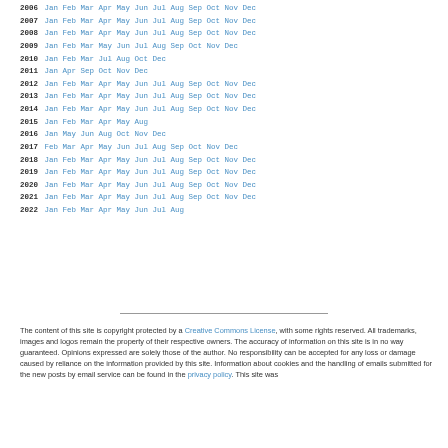2006 Jan Feb Mar Apr May Jun Jul Aug Sep Oct Nov Dec
2007 Jan Feb Mar Apr May Jun Jul Aug Sep Oct Nov Dec
2008 Jan Feb Mar Apr May Jun Jul Aug Sep Oct Nov Dec
2009 Jan Feb Mar May Jun Jul Aug Sep Oct Nov Dec
2010 Jan Feb Mar Jul Aug Oct Dec
2011 Jan Apr Sep Oct Nov Dec
2012 Jan Feb Mar Apr May Jun Jul Aug Sep Oct Nov Dec
2013 Jan Feb Mar Apr May Jun Jul Aug Sep Oct Nov Dec
2014 Jan Feb Mar Apr May Jun Jul Aug Sep Oct Nov Dec
2015 Jan Feb Mar Apr May Aug
2016 Jan May Jun Aug Oct Nov Dec
2017 Feb Mar Apr May Jun Jul Aug Sep Oct Nov Dec
2018 Jan Feb Mar Apr May Jun Jul Aug Sep Oct Nov Dec
2019 Jan Feb Mar Apr May Jun Jul Aug Sep Oct Nov Dec
2020 Jan Feb Mar Apr May Jun Jul Aug Sep Oct Nov Dec
2021 Jan Feb Mar Apr May Jun Jul Aug Sep Oct Nov Dec
2022 Jan Feb Mar Apr May Jun Jul Aug
The content of this site is copyright protected by a Creative Commons License, with some rights reserved. All trademarks, images and logos remain the property of their respective owners. The accuracy of information on this site is in no way guaranteed. Opinions expressed are solely those of the author. No responsibility can be accepted for any loss or damage caused by reliance on the information provided by this site. Information about cookies and the handling of emails submitted for the new posts by email service can be found in the privacy policy. This site was